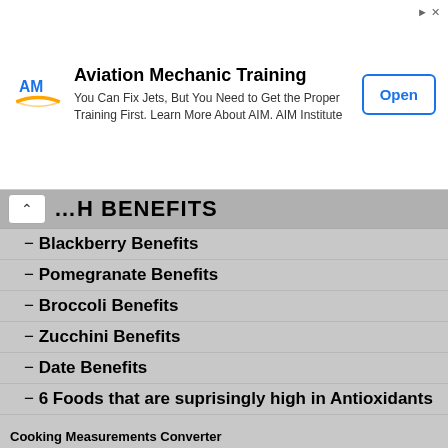[Figure (other): Advertisement banner for Aviation Mechanic Training by AIM Institute with logo, text, and Open button]
...H BENEFITS
− Blackberry Benefits
− Pomegranate Benefits
− Broccoli Benefits
− Zucchini Benefits
− Date Benefits
− 6 Foods that are suprisingly high in Antioxidants
HOME REMEDY
− Flu & Common Cold
− 10 Highest Source Of Antioxidants
− 10 Natural Skin Care
− 10 Natural Sleep Aids
Cooking Measurements Converter